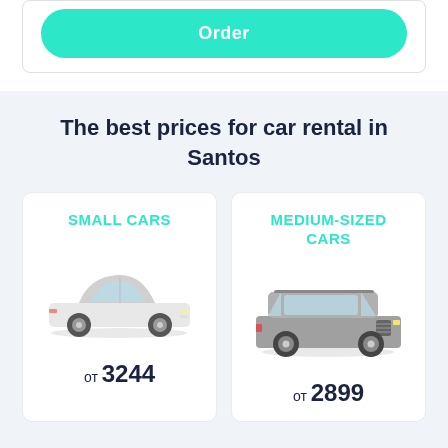[Figure (screenshot): Order button - teal/turquoise rounded button with white text 'Order']
The best prices for car rental in Santos
[Figure (infographic): Small Cars card with sedan car image and price от 3244]
[Figure (infographic): Medium-Sized Cars card with SUV/Jeep car image and price от 2899]